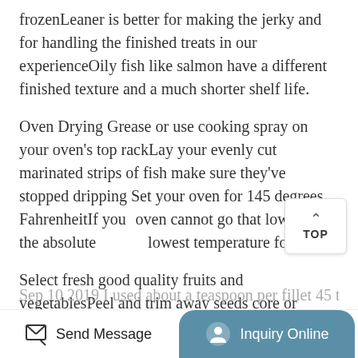frozenLeaner is better for making the jerky and for handling the finished treats in our experienceOily fish like salmon have a different finished texture and a much shorter shelf life.
Oven Drying Grease or use cooking spray on your oven's top rackLay your evenly cut marinated strips of fish make sure they've stopped dripping Set your oven for 145 degrees FahrenheitIf your oven cannot go that low choose the absolute lowest temperature for.
Select fresh good quality fruits and vegetablesPeel and trim away seeds core or damaged portionsCut into halves strips or slices about 18inch to 14inch thick that dry readily.
Sep 10 2019 I used about a teaspoon per fillet 45 to
Send Message | Inquiry Online